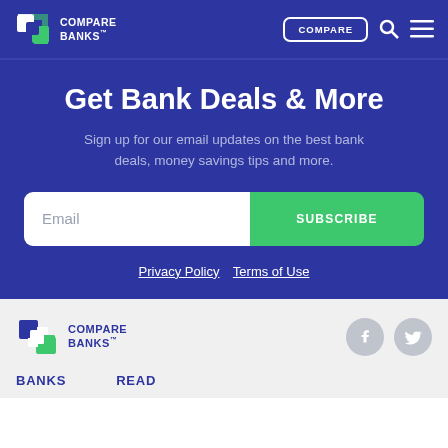COMPARE BANKS™ | COMPARE
Get Bank Deals & More
Sign up for our email updates on the best bank deals, money savings tips and more.
Email SUBSCRIBE
Privacy Policy  Terms of Use
[Figure (logo): Compare Banks logo in footer]
BANKS  READ